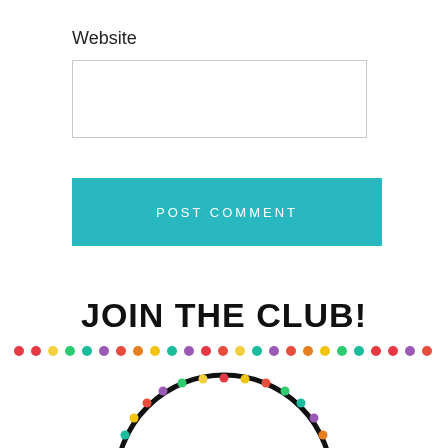Website
[Figure (other): Empty text input box for website URL entry]
[Figure (other): Teal POST COMMENT button]
JOIN THE CLUB!
[Figure (illustration): Row of colorful dots (red, yellow, teal, purple, orange, etc.) as a decorative divider]
[Figure (logo): Partially visible circular speech therapy club logo with colorful dot border and the word SPEECH visible at the bottom]